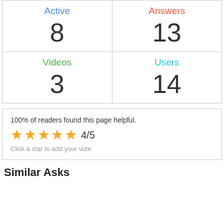| Active | Answers | Videos | Users |
| --- | --- | --- | --- |
| 8 | 13 |
| 3 | 14 |
100% of readers found this page helpful.
[Figure (other): Star rating widget showing 4/5 stars in orange]
Click a star to add your vote
Similar Asks